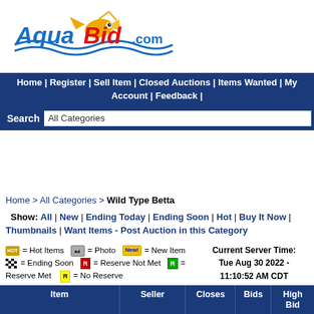[Figure (logo): AquaBid.com logo with cartoon fish and blue wave design]
Home | Register | Sell Item | Closed Auctions | Items Wanted | My Account | Feedback |
Search  All Categories
Home > All Categories > Wild Type Betta
Show: All | New | Ending Today | Ending Soon | Hot | Buy It Now | Thumbnails | Want Items - Post Auction in this Category
= Hot Items  = Photo  = New Item  = Ending Soon  = Reserve Not Met  = Reserve Met  = No Reserve   Current Server Time: Tue Aug 30 2022 - 11:10:52 AM CDT
| Item | Seller | Closes | Bids | High Bid |
| --- | --- | --- | --- | --- |